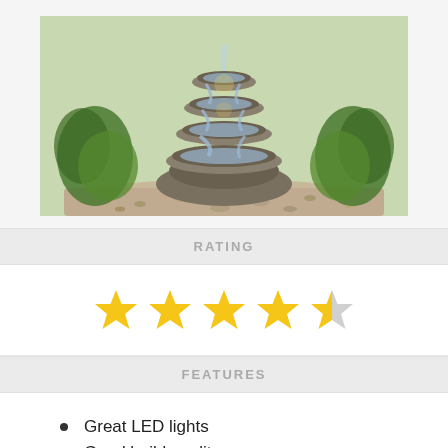[Figure (photo): A tiered stone water fountain with LED lights, surrounded by green ferns and gravel, photographed in a garden setting.]
RATING
[Figure (infographic): 4 out of 5 stars rating shown as golden star icons, with the 5th star partially filled (grey/empty).]
FEATURES
Great LED lights
Good build quality